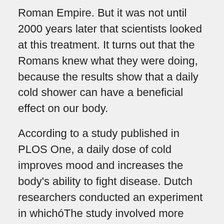Roman Empire. But it was not until 2000 years later that scientists looked at this treatment. It turns out that the Romans knew what they were doing, because the results show that a daily cold shower can have a beneficial effect on our body.
According to a study published in PLOS One, a daily dose of cold improves mood and increases the body's ability to fight disease. Dutch researchers conducted an experiment in whichóThe study involved more than 3,000 volunteersów. The study asked people to end their daily shower with at least 30 seconds of cold water.
Scientists observed increased levels of the hormoneóin such as cortisol and norepinephrine, whichóreindeer production was stimulated by cold showers.
A 29 percent reduction was observed in the people